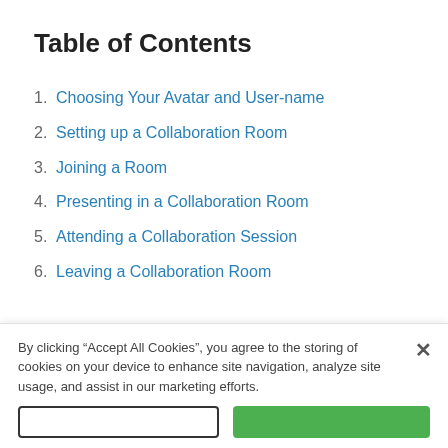Table of Contents
1. Choosing Your Avatar and User-name
2. Setting up a Collaboration Room
3. Joining a Room
4. Presenting in a Collaboration Room
5. Attending a Collaboration Session
6. Leaving a Collaboration Room
By clicking “Accept All Cookies”, you agree to the storing of cookies on your device to enhance site navigation, analyze site usage, and assist in our marketing efforts.